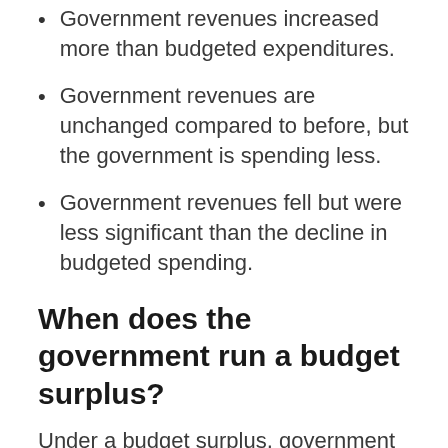Government revenues increased more than budgeted expenditures.
Government revenues are unchanged compared to before, but the government is spending less.
Government revenues fell but were less significant than the decline in budgeted spending.
When does the government run a budget surplus?
Under a budget surplus, government revenues exceed spending. It usually happens when the economy is prospering where the economy is expanding. During this period, economic activity